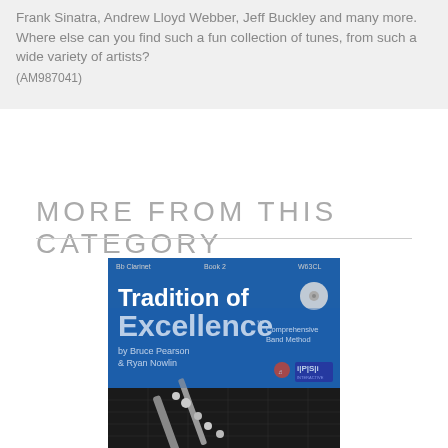Frank Sinatra, Andrew Lloyd Webber, Jeff Buckley and many more. Where else can you find such a fun collection of tunes, from such a wide variety of artists?
(AM987041)
MORE FROM THIS CATEGORY
[Figure (photo): Book cover of 'Tradition of Excellence - Comprehensive Band Method' by Bruce Pearson & Ryan Nowlin, showing a clarinet on a blue and dark background with grid pattern overlay. Labeled Bb Clarinet, Book 2.]